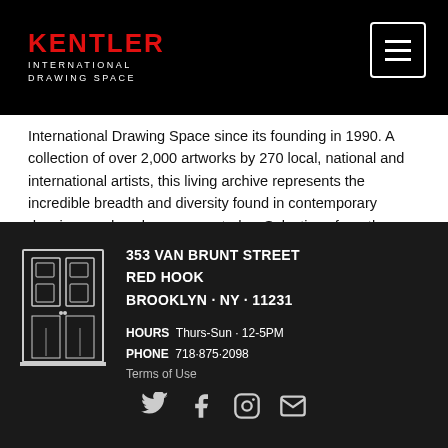KENTLER INTERNATIONAL DRAWING SPACE
International Drawing Space since its founding in 1990. A collection of over 2,000 artworks by 270 local, national and international artists, this living archive represents the incredible breadth and diversity found in contemporary drawings and works on paper today. Selections from the Flatfiles are regularly presented in guest-curated exhibitions at Kentler and in traveling shows. "Focus on the Flatfiles" is a rotating selection of works on view in our front gallery space.
353 VAN BRUNT STREET
RED HOOK
BROOKLYN · NY · 11231
HOURS  Thurs-Sun · 12-5PM
PHONE  718·875·2098
Terms of Use
[Figure (illustration): Line drawing of a doorway/entrance to a building, white lines on dark background]
[Figure (infographic): Social media icons row: Twitter, Facebook, Instagram, Email]